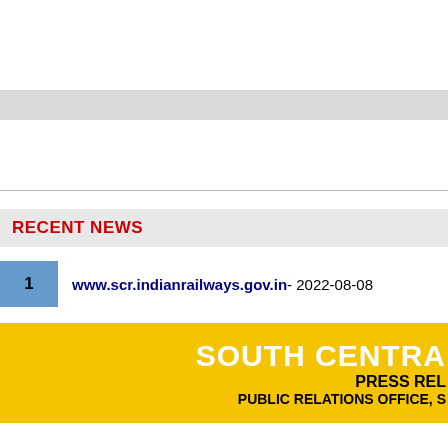RECENT NEWS
1   www.scr.indianrailways.gov.in- 2022-08-08
SOUTH CENTRA
PRESS REL
PUBLIC RELATIONS OFFICE, S